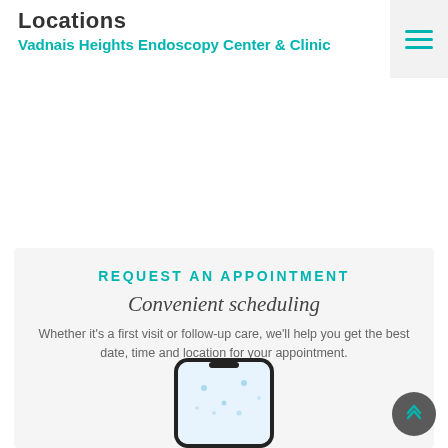Locations
Vadnais Heights Endoscopy Center & Clinic
REQUEST AN APPOINTMENT
Convenient scheduling
Whether it's a first visit or follow-up care, we'll help you get the best date, time and location for your appointment.
[Figure (photo): Smartphone device shown partially, top corner visible with app interface]